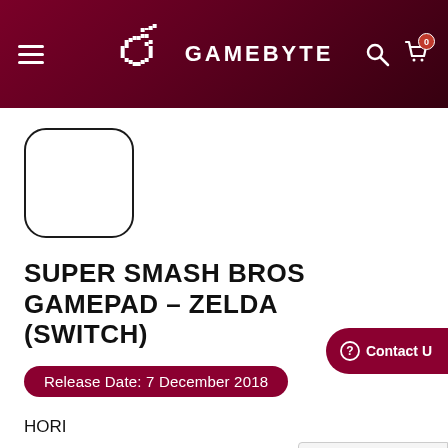GAMEBYTE
[Figure (illustration): Product image placeholder - rounded rectangle outline with no image inside]
SUPER SMASH BROS GAMEPAD - ZELDA (SWITCH)
Release Date: 7 December 2018
HORI